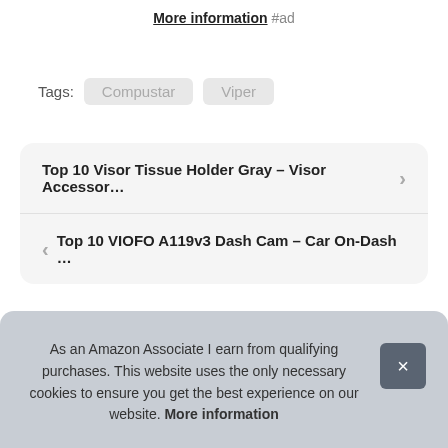More information #ad
Tags: Compustar  Viper
Top 10 Visor Tissue Holder Gray – Visor Accessor... >
< Top 10 VIOFO A119v3 Dash Cam – Car On-Dash ...
As an Amazon Associate I earn from qualifying purchases. This website uses the only necessary cookies to ensure you get the best experience on our website. More information